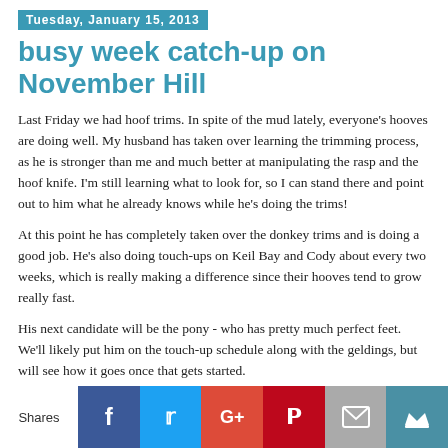Tuesday, January 15, 2013
busy week catch-up on November Hill
Last Friday we had hoof trims. In spite of the mud lately, everyone's hooves are doing well. My husband has taken over learning the trimming process, as he is stronger than me and much better at manipulating the rasp and the hoof knife. I'm still learning what to look for, so I can stand there and point out to him what he already knows while he's doing the trims!
At this point he has completely taken over the donkey trims and is doing a good job. He's also doing touch-ups on Keil Bay and Cody about every two weeks, which is really making a difference since their hooves tend to grow really fast.
His next candidate will be the pony - who has pretty much perfect feet. We'll likely put him on the touch-up schedule along with the geldings, but will see how it goes once that gets started.
[Figure (infographic): Social share buttons bar showing: Shares label, Facebook (blue), Twitter (light blue), Google+ (red), Pinterest (dark red), Email (gray), Crown/bookmark (teal)]